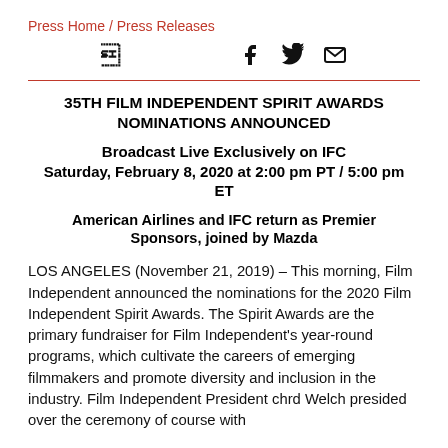Press Home / Press Releases
[Figure (other): Social media share icons: Facebook, Twitter, Email]
35TH FILM INDEPENDENT SPIRIT AWARDS NOMINATIONS ANNOUNCED
Broadcast Live Exclusively on IFC Saturday, February 8, 2020 at 2:00 pm PT / 5:00 pm ET
American Airlines and IFC return as Premier Sponsors, joined by Mazda
LOS ANGELES (November 21, 2019) – This morning, Film Independent announced the nominations for the 2020 Film Independent Spirit Awards. The Spirit Awards are the primary fundraiser for Film Independent's year-round programs, which cultivate the careers of emerging filmmakers and promote diversity and inclusion in the industry. Film Independent President chrd Welch presided over the ceremony of course with